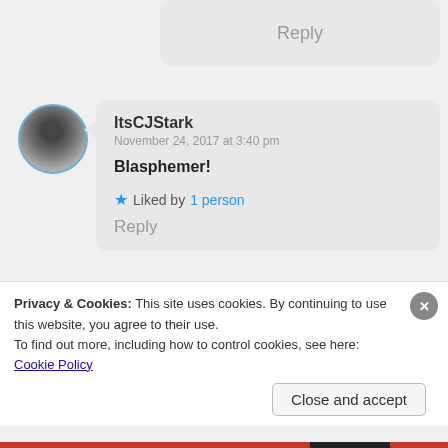Reply
ItsCJStark
November 24, 2017 at 3:40 pm

Blasphemer!

★ Liked by 1 person

Reply
S. C. Flynn
Privacy & Cookies: This site uses cookies. By continuing to use this website, you agree to their use.
To find out more, including how to control cookies, see here: Cookie Policy
Close and accept